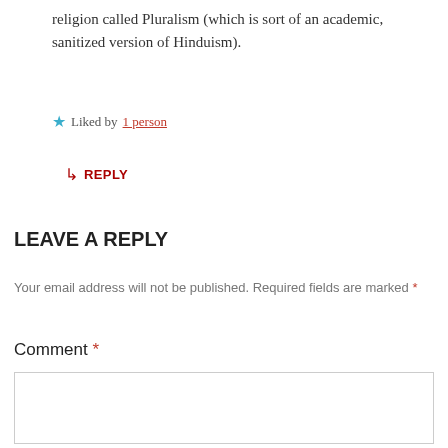religion called Pluralism (which is sort of an academic, sanitized version of Hinduism).
★ Liked by 1 person
↳ REPLY
LEAVE A REPLY
Your email address will not be published. Required fields are marked *
Comment *